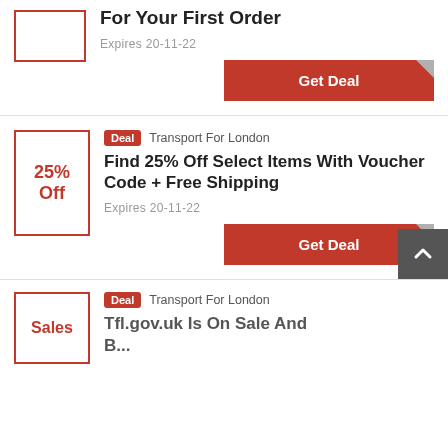For Your First Order
Expires 20-11-22
Get Deal
Deal  Transport For London
Find 25% Off Select Items With Voucher Code + Free Shipping
Expires 20-11-22
Get Deal
Deal  Transport For London
Tfl.gov.uk Is On Sale And ...